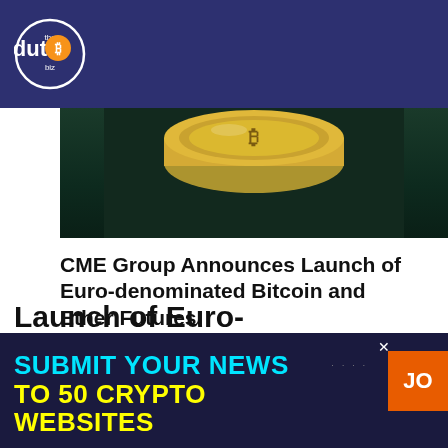the dut.B biz
[Figure (photo): Close-up photo of gold Bitcoin coins on a dark background]
CME Group Announces Launch of Euro-denominated Bitcoin and Ether Futures
Leave a Reply
You must be logged in to post a comment.
[Figure (infographic): Dark blue banner advertisement: SUBMIT YOUR NEWS TO 50 CRYPTO WEBSITES with orange JOIN button]
Launch of Euro-